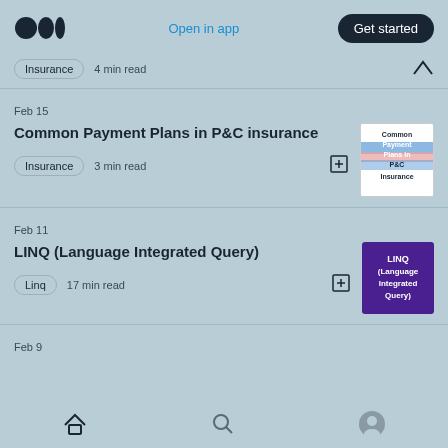[Figure (screenshot): Medium app logo (three circles)]
Open in app
Get started
Insurance · 4 min read
Feb 15
Common Payment Plans in P&C insurance
Insurance · 3 min read
[Figure (illustration): Thumbnail for Common Payment Plans in P&C Insurance article]
Feb 11
LINQ (Language Integrated Query)
Linq · 17 min read
[Figure (illustration): Thumbnail for LINQ (Language Integrated Query) article - purple background with white text]
Feb 9